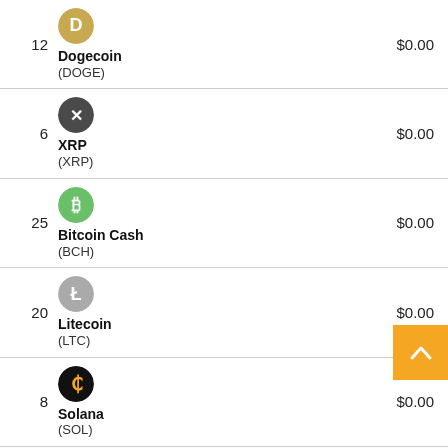| # | Coin | Price |
| --- | --- | --- |
| 12 | Dogecoin (DOGE) | $0.00 |
| 6 | XRP (XRP) | $0.00 |
| 25 | Bitcoin Cash (BCH) | $0.00 |
| 20 | Litecoin (LTC) | $0.00 |
| 8 | Solana (SOL) | $0.00 |
| 22 | Chainlink (LINK) | $0.00 |